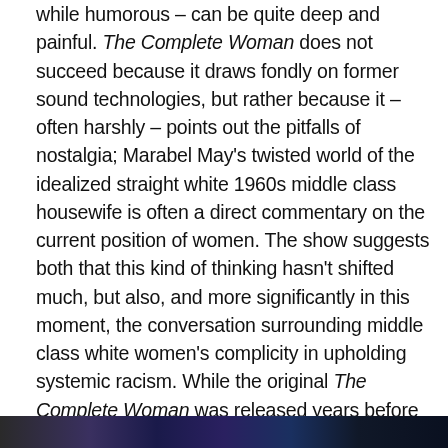while humorous – can be quite deep and painful. The Complete Woman does not succeed because it draws fondly on former sound technologies, but rather because it – often harshly – points out the pitfalls of nostalgia; Marabel May's twisted world of the idealized straight white 1960s middle class housewife is often a direct commentary on the current position of women. The show suggests both that this kind of thinking hasn't shifted much, but also, and more significantly in this moment, the conversation surrounding middle class white women's complicity in upholding systemic racism. While the original The Complete Woman was released years before these conversations became widely prevalent, it holds up a satirical, yet bitingly revelatory mirror to the contemporary moment.
[Figure (photo): Partial image strip at bottom of page, appears to show a colorful or concert-related photograph, mostly cut off]